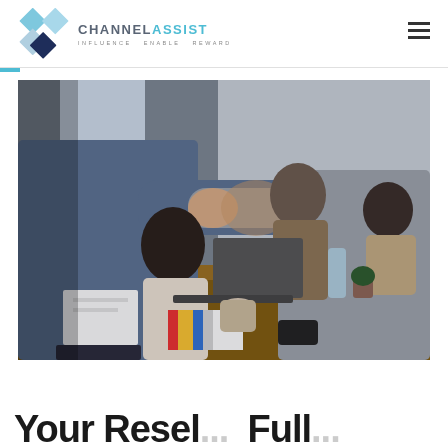[Figure (logo): Channel Assist logo with diamond icon and tagline INFLUENCE ENABLE REWARD]
[Figure (photo): Business meeting scene with people shaking hands across a conference table, multiple people visible in the background]
Your Resel...  Full...